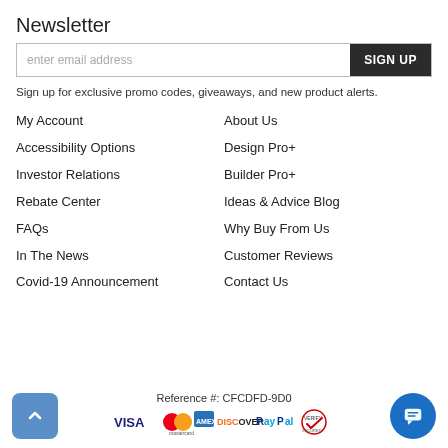Newsletter
enter email address
SIGN UP
Sign up for exclusive promo codes, giveaways, and new product alerts.
My Account
About Us
Accessibility Options
Design Pro+
Investor Relations
Builder Pro+
Rebate Center
Ideas & Advice Blog
FAQs
Why Buy From Us
In The News
Customer Reviews
Covid-19 Announcement
Contact Us
Reference #: CFCDFD-9D0
[Figure (logo): Payment method icons: VISA, Mastercard, American Express, Discover, PayPal, VeriSign Secured]